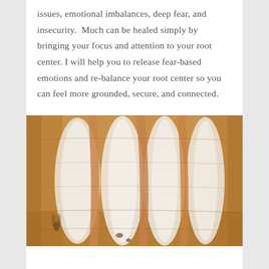issues, emotional imbalances, deep fear, and insecurity.  Much can be healed simply by bringing your focus and attention to your root center. I will help you to release fear-based emotions and re-balance your root center so you can feel more grounded, secure, and connected.
[Figure (photo): A close-up textured image of what appears to be a clay or plaster relief sculpture showing root-like or finger-like forms in earthy orange/tan and white tones.]